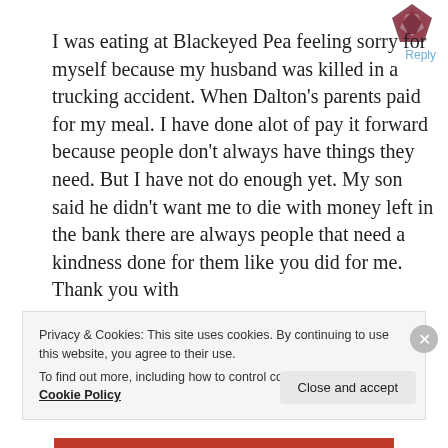[Figure (logo): Dark red/maroon geometric logo icon in top right corner]
Reply
I was eating at Blackeyed Pea feeling sorry for myself because my husband was killed in a trucking accident. When Dalton’s parents paid for my meal. I have done alot of pay it forward because people don’t always have things they need. But I have not do enough yet. My son said he didn’t want me to die with money left in the bank there are always people that need a kindness done for them like you did for me. Thank you with
Privacy & Cookies: This site uses cookies. By continuing to use this website, you agree to their use.
To find out more, including how to control cookies, see here: Cookie Policy
Close and accept